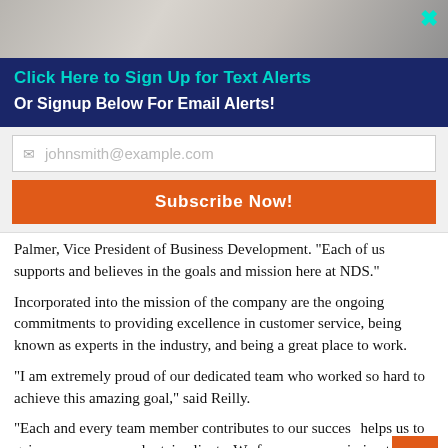[Figure (photo): Partial view of a person (upper body/face area) as a photo strip at the top of the page]
Click Here to Sign Up for Text Alerts
Or Signup Below For Email Alerts!
johnsmith@example.com (email input placeholder)
Subscribe Now!
Palmer, Vice President of Business Development. "Each of us supports and believes in the goals and mission here at NDS."
Incorporated into the mission of the company are the ongoing commitments to providing excellence in customer service, being known as experts in the industry, and being a great place to work.
"I am extremely proud of our dedicated team who worked so hard to achieve this amazing goal," said Reilly.
"Each and every team member contributes to our success, helps us to gain new revenue and retain clients. We focus on our mission to maintain our reputation as experts in our industry. I am